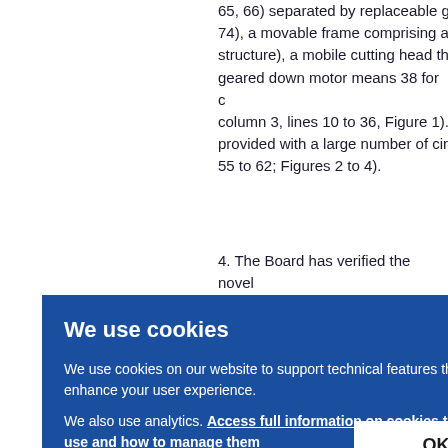65, 66) separated by replaceable g... 74), a movable frame comprising a... structure), a mobile cutting head th... geared down motor means 38 for c... column 3, lines 10 to 36, Figure 1). provided with a large number of cir... 55 to 62; Figures 2 to 4).
4. The Board has verified the novel... in the light of the above teachings,...
We use cookies
We use cookies on our website to support technical features that enhance your user experience.
We also use analytics. Access full information on cookies that we use and how to manage them